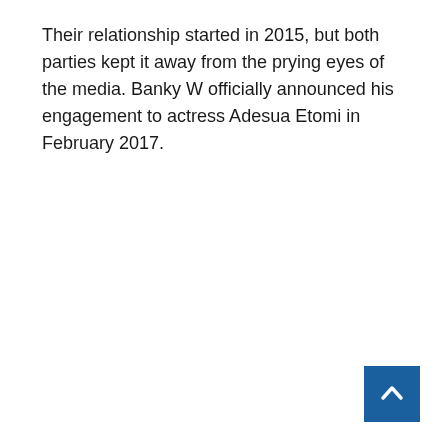Their relationship started in 2015, but both parties kept it away from the prying eyes of the media. Banky W officially announced his engagement to actress Adesua Etomi in February 2017.
[Figure (other): Back-to-top navigation button: a dark blue square with a white upward-pointing chevron/arrow icon centered on it.]